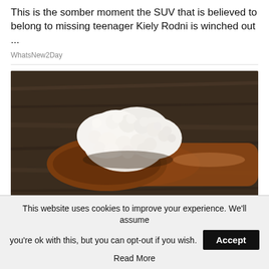This is the somber moment the SUV that is believed to belong to missing teenager Kiely Rodni is winched out ...
WhatsNew2Day
[Figure (photo): Photo of white cauliflower-like kefir grains on a wooden spoon against a dark rustic wood background]
Eczema Home Remedies Many People
This website uses cookies to improve your experience. We'll assume you're ok with this, but you can opt-out if you wish.
Accept
Read More